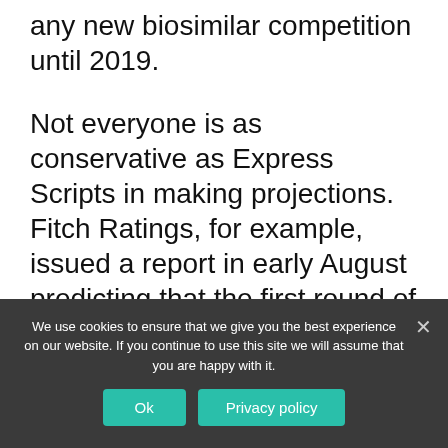any new biosimilar competition until 2019.
Not everyone is as conservative as Express Scripts in making projections. Fitch Ratings, for example, issued a report in early August predicting that the first round of U.S. approvals will occur in 2015. Andrew Bourgoin, an analyst for Thomson Reuters, expects to see the first of the big new entrants file U.S. biosimilar applications as early as the end of next year. The progress being made in Europe today, he adds, can
We use cookies to ensure that we give you the best experience on our website. If you continue to use this site we will assume that you are happy with it.